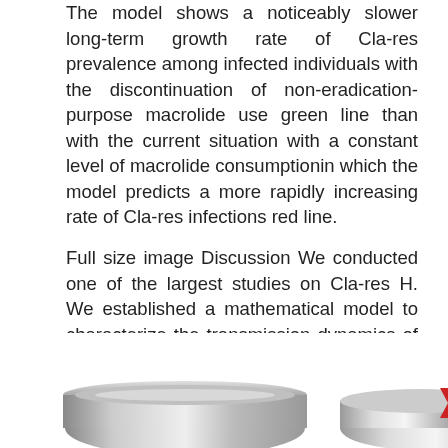The model shows a noticeably slower long-term growth rate of Cla-res prevalence among infected individuals with the discontinuation of non-eradication-purpose macrolide use green line than with the current situation with a constant level of macrolide consumptionin which the model predicts a more rapidly increasing rate of Cla-res infections red line.
Full size image Discussion We conducted one of the largest studies on Cla-res H. We established a mathematical model to characterize the transmission dynamics of Cla-res H. Primary Cla-res of H. However, this approach has several limitations.
[Figure (photo): Partial view of metallic bowls or laboratory equipment at the bottom of the page, partially cropped.]